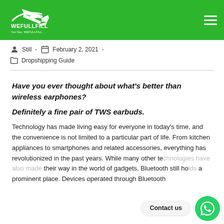WEFULLFILL — navigation header with logo and hamburger menu
Still  -  February 2, 2021  -
Dropshipping Guide
Have you ever thought about what's better than wireless earphones?
Definitely a fine pair of TWS earbuds.
Technology has made living easy for everyone in today's time, and the convenience is not limited to a particular part of life. From kitchen appliances to smartphones and related accessories, everything has revolutionized in the past years. While many other te… their way in the world of gadgets, Bluetooth still ho… a prominent place. Devices operated through Bluetooth